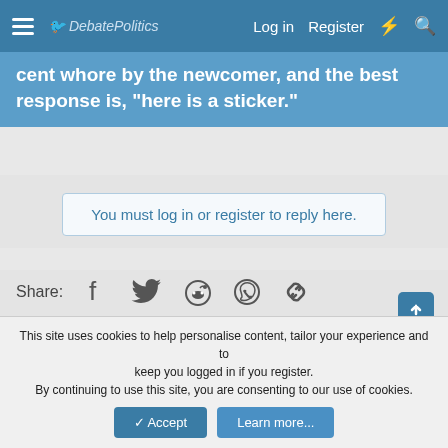DebatePolitics — Log in  Register
cent whore by the newcomer, and the best response is, "here is a sticker."
You must log in or register to reply here.
Share:
< Archives
DP 3.0 | Contact us | Terms and rules | Privacy policy | Help | Home | Community platform by XenForo® © 2010-2021 XenForo Ltd. Awards System by AddonFlare - Premium XF2 Addons | Add-ons by ThemeHouse | Media embeds via s9e/MediaSites
This site uses cookies to help personalise content, tailor your experience and to keep you logged in if you register. By continuing to use this site, you are consenting to our use of cookies.